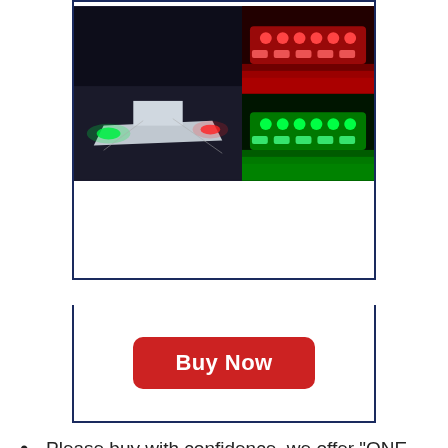[Figure (photo): Product photos showing LED boat navigation lights: left photo shows a boat at night with red and green navigation lights lit; top-right shows a red LED bar light close-up; bottom-right shows a green LED bar light close-up.]
Buy Now
Please buy with confidence, we offer "ONE YEAR" warranty on item(s) damaged during delivery or have a confirmed manufacturer defect.
Features: These New LED Boat Navigation Lights Includes One 3.8"